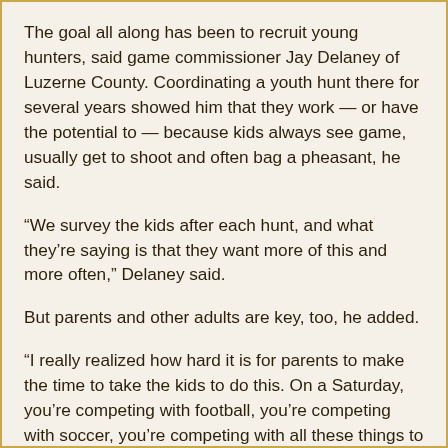The goal all along has been to recruit young hunters, said game commissioner Jay Delaney of Luzerne County. Coordinating a youth hunt there for several years showed him that they work — or have the potential to — because kids always see game, usually get to shoot and often bag a pheasant, he said.
“We survey the kids after each hunt, and what they’re saying is that they want more of this and more often,” Delaney said.
But parents and other adults are key, too, he added.
“I really realized how hard it is for parents to make the time to take the kids to do this. On a Saturday, you’re competing with football, you’re competing with soccer, you’re competing with all these things to give the kids a day afield,” Delaney said.
“If the parents don’t support that, if there’s not a dad or mom or aunt or grandfather willing to get the kids out, this just simply isn’t going to work.”